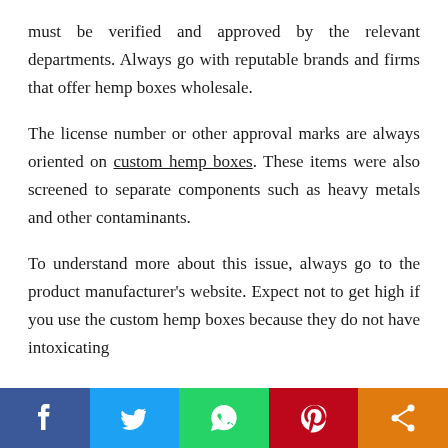must be verified and approved by the relevant departments. Always go with reputable brands and firms that offer hemp boxes wholesale.
The license number or other approval marks are always oriented on custom hemp boxes. These items were also screened to separate components such as heavy metals and other contaminants.
To understand more about this issue, always go to the product manufacturer's website. Expect not to get high if you use the custom hemp boxes because they do not have intoxicating
[Figure (infographic): Social media share bar at bottom with Facebook (blue), Twitter (light blue), WhatsApp (green), Pinterest (red), and Share (orange) buttons]